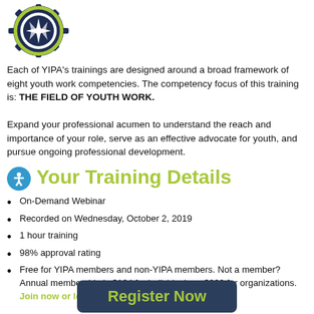[Figure (logo): YIPA gear logo with compass/star symbol in dark navy blue and lime green]
Each of YIPA’s trainings are designed around a broad framework of eight youth work competencies. The competency focus of this training is: THE FIELD OF YOUTH WORK.
Expand your professional acumen to understand the reach and importance of your role, serve as an effective advocate for youth, and pursue ongoing professional development.
Your Training Details
On-Demand Webinar
Recorded on Wednesday, October 2, 2019
1 hour training
98% approval rating
Free for YIPA members and non-YIPA members. Not a member? Annual membership is $124 for individuals or $300 for organizations. Join now or learn more.
Register Now